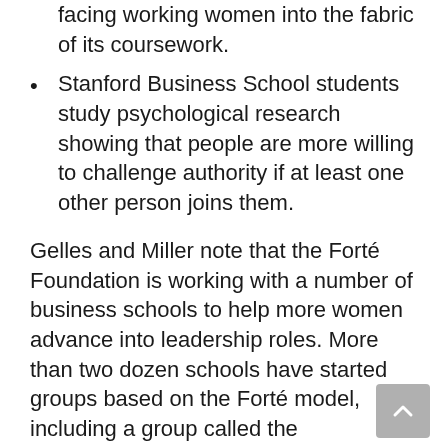facing working women into the fabric of its coursework.
Stanford Business School students study psychological research showing that people are more willing to challenge authority if at least one other person joins them.
Gelles and Miller note that the Forté Foundation is working with a number of business schools to help more women advance into leadership roles. More than two dozen schools have started groups based on the Forté model, including a group called the Manbassadors “for men committed to gender equity in business.” One male participant in the Manbassador program at Dartmouth explained that the goal is